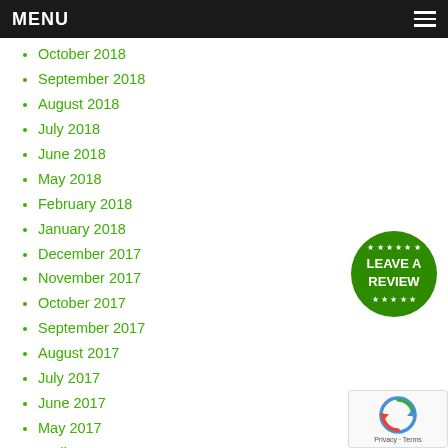MENU
October 2018
September 2018
August 2018
July 2018
June 2018
May 2018
February 2018
January 2018
December 2017
November 2017
October 2017
September 2017
August 2017
July 2017
June 2017
May 2017
April 2017
[Figure (illustration): Green circular badge with stars and text LEAVE A REVIEW]